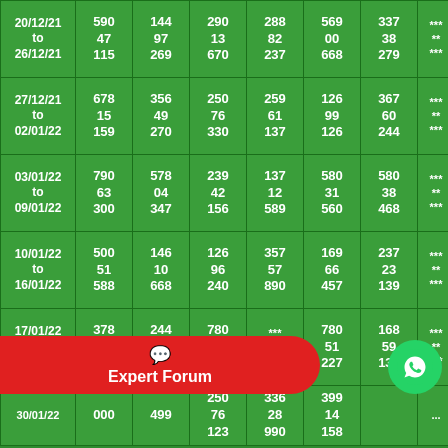| Date | Col1 | Col2 | Col3 | Col4 | Col5 | Col6 | Stars |
| --- | --- | --- | --- | --- | --- | --- | --- |
| 20/12/21 to 26/12/21 | 590
47
115 | 144
97
269 | 290
13
670 | 288
82
237 | 569
00
668 | 337
38
279 | ***
**
*** |
| 27/12/21 to 02/01/22 | 678
15
159 | 356
49
270 | 250
76
330 | 259
61
137 | 126
99
126 | 367
60
244 | ***
**
*** |
| 03/01/22 to 09/01/22 | 790
63
300 | 578
04
347 | 239
42
156 | 137
12
589 | 580
31
560 | 580
38
468 | ***
**
*** |
| 10/01/22 to 16/01/22 | 500
51
588 | 146
10
668 | 126
96
240 | 357
57
890 | 169
66
457 | 237
23
139 | ***
**
*** |
| 17/01/22 to 23/01/22 | 378
81
227 | 244
09
379 | 780
51
489 | ***
**
*** | 780
51
227 | 168
59
135 | ***
**
*** |
| 30/01/22 | 000 | 499 | 250
76
123 | 336
28
990 | 399
14
158 | ... |